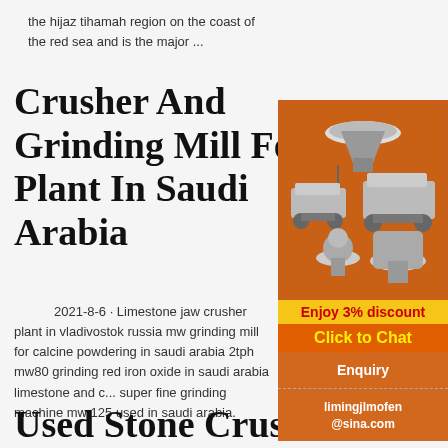the hijaz tihamah region on the coast of the red sea and is the major ...
Crusher And Grinding Mill For Plant In Saudi Arabia
2021-8-6 · Limestone jaw crusher plant in vladivostok russia mw grinding mill for calcine powdering in saudi arabia 2tph mw80 grinding red iron oxide in saudi arabia limestone and c... super fine grinding machine mw 125 used in saudi arabia.
[Figure (illustration): Advertisement panel showing industrial crusher and grinding mill machinery on orange background with discount offer, chat button, enquiry section and email limingjlmofen@sina.com]
Used Stone Crusher Machine For Sale In